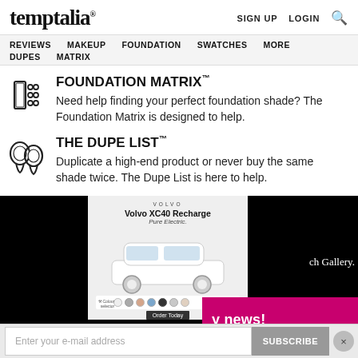temptalia® — SIGN UP   LOGIN   🔍
REVIEWS   MAKEUP   FOUNDATION   SWATCHES   MORE   DUPES   MATRIX
FOUNDATION MATRIX™
Need help finding your perfect foundation shade? The Foundation Matrix is designed to help.
THE DUPE LIST™
Duplicate a high-end product or never buy the same shade twice. The Dupe List is here to help.
[Figure (advertisement): Volvo XC40 Recharge Pure Electric advertisement banner with color swatches and car image, surrounded by black blocks. Partially visible text 'ch Gallery.' and 'y news!' on right side.]
Enter your e-mail address
SUBSCRIBE